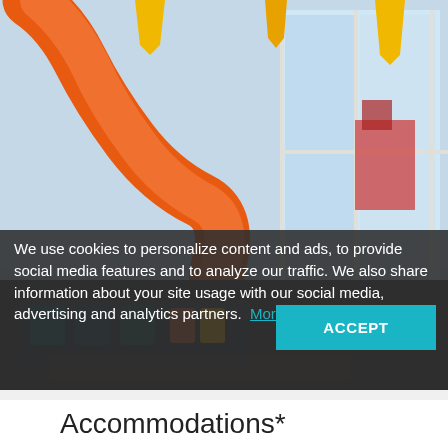[Figure (photo): Interior of a colorful cruise ship suite featuring an orange waterslide, yellow pendant lights, teal accents, and large windows with an ocean view. Text watermark reads 'Ultimate Family Suite'.]
We use cookies to personalize content and ads, to provide social media features and to analyze our traffic. We also share information about your site usage with our social media, advertising and analytics partners. More info.
Accommodations*